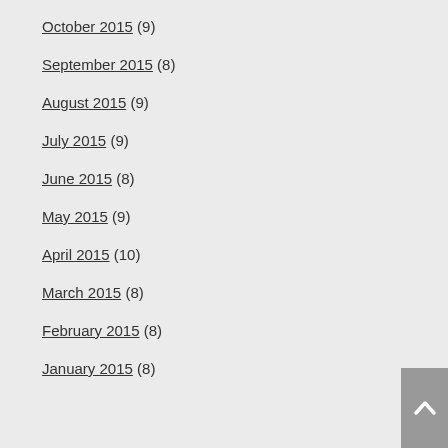October 2015 (9)
September 2015 (8)
August 2015 (9)
July 2015 (9)
June 2015 (8)
May 2015 (9)
April 2015 (10)
March 2015 (8)
February 2015 (8)
January 2015 (8)